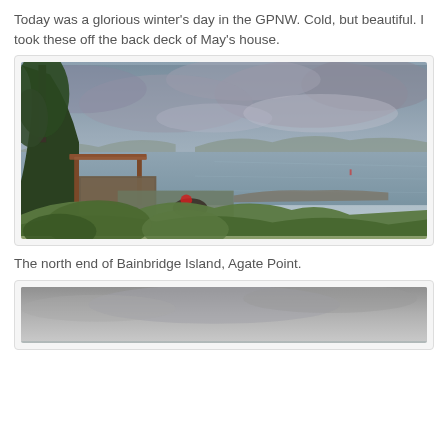Today was a glorious winter's day in the GPNW. Cold, but beautiful. I took these off the back deck of May's house.
[Figure (photo): View from a back deck overlooking the water (Puget Sound / Bainbridge Island area). Foreground shows lush green shrubs and a wooden pergola structure with reddish-brown beams. A lower terrace/deck with outdoor furniture (table and chairs) is visible mid-ground. The water stretches across the middle distance with forested hills on the far shore. The sky is overcast with dramatic grey clouds.]
The north end of Bainbridge Island, Agate Point.
[Figure (photo): Partially visible photo at the bottom of the page — appears to show a grey overcast sky and water, similar winter landscape.]